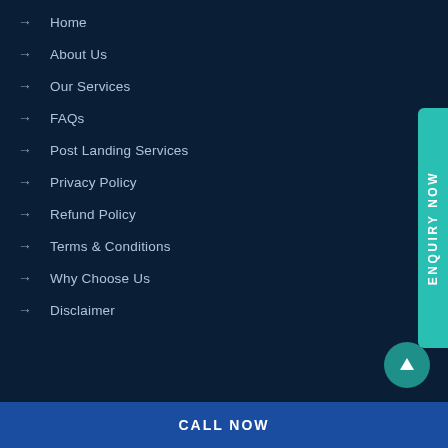→ Home
→ About Us
→ Our Services
→ FAQs
→ Post Landing Services
→ Privacy Policy
→ Refund Policy
→ Terms & Conditions
→ Why Choose Us
→ Disclaimer
ENQUIRY NOW
CALL NOW